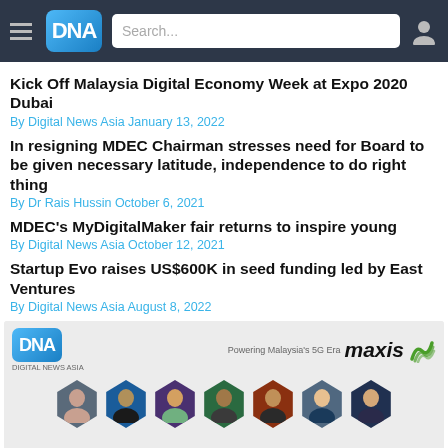DNA — Digital News Asia
Kick Off Malaysia Digital Economy Week at Expo 2020 Dubai
By Digital News Asia January 13, 2022
In resigning MDEC Chairman stresses need for Board to be given necessary latitude, independence to do right thing
By Dr Rais Hussin October 6, 2021
MDEC's MyDigitalMaker fair returns to inspire young
By Digital News Asia October 12, 2021
Startup Evo raises US$600K in seed funding led by East Ventures
By Digital News Asia August 8, 2022
[Figure (photo): DNA and Maxis advertisement banner showing DNA logo, Maxis branding with 'Powering Malaysia's 5G Era', and a row of people in hexagonal frames]